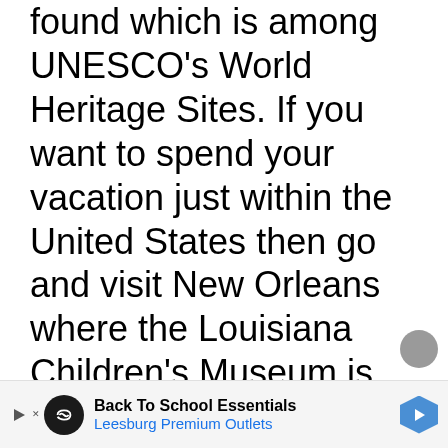found which is among UNESCO's World Heritage Sites. If you want to spend your vacation just within the United States then go and visit New Orleans where the Louisiana Children's Museum is located. Its new building has edible gardens, life-sized interactive chessboard and a floating classroom. You can also find there a kid-friendly restaurant as well as the Mighty Mississippi exhibit.
[Figure (other): Advertisement banner: Back To School Essentials - Leesburg Premium Outlets with logo icons and navigation arrow]